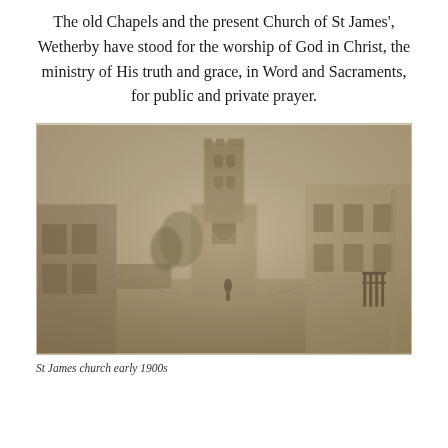The old Chapels and the present Church of St James', Wetherby have stood for the worship of God in Christ, the ministry of His truth and grace, in Word and Sacraments, for public and private prayer.
[Figure (photo): Sepia-toned historical photograph of a street scene showing St James church in Wetherby in the early 1900s. The tall church tower is visible at the end of the street, with Victorian-era buildings on either side and a lone figure visible in the middle distance.]
St James church early 1900s